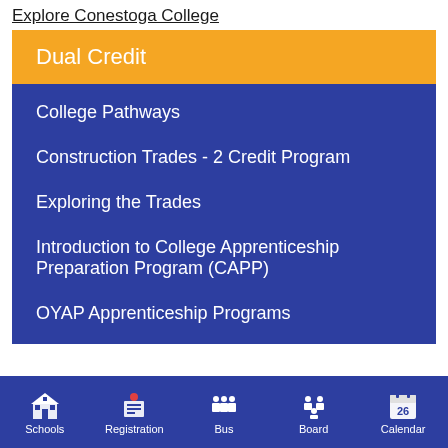Explore Conestoga College
Dual Credit
College Pathways
Construction Trades - 2 Credit Program
Exploring the Trades
Introduction to College Apprenticeship Preparation Program (CAPP)
OYAP Apprenticeship Programs
Schools  Registration  Bus  Board  Calendar